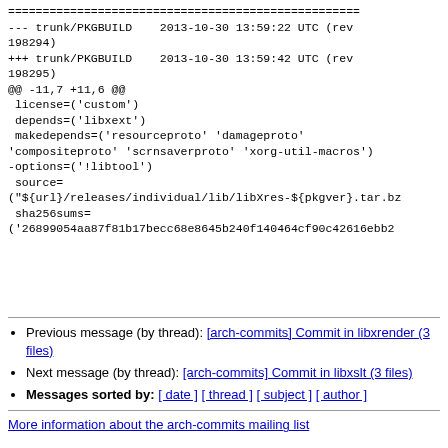=== (separator line) ===
--- trunk/PKGBUILD    2013-10-30 13:59:22 UTC (rev 198294)
+++ trunk/PKGBUILD    2013-10-30 13:59:42 UTC (rev 198295)
@@ -11,7 +11,6 @@
  license=('custom')
  depends=('libxext')
  makedepends=('resourceproto' 'damageproto' 'compositeproto' 'scrnsaverproto' 'xorg-util-macros')
 -options=('!libtool')
  source=
 ("${url}/releases/individual/lib/libXres-${pkgver}.tar.bz
  sha256sums=
 ('26899054aa87f81b17becc68e8645b240f140464cf90c42616ebb2
Previous message (by thread): [arch-commits] Commit in libxrender (3 files)
Next message (by thread): [arch-commits] Commit in libxslt (3 files)
Messages sorted by: [ date ] [ thread ] [ subject ] [ author ]
More information about the arch-commits mailing list